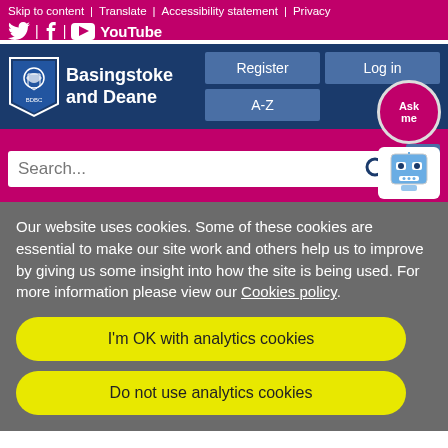Skip to content | Translate | Accessibility statement | Privacy
[Figure (logo): Twitter, Facebook, YouTube social media icons]
[Figure (logo): Basingstoke and Deane council logo with shield emblem]
Basingstoke and Deane
Register | Log in | A-Z buttons
Search...
[Figure (other): Ask me chatbot robot icon with CHAT BOT label]
Our website uses cookies. Some of these cookies are essential to make our site work and others help us to improve by giving us some insight into how the site is being used. For more information please view our Cookies policy.
I'm OK with analytics cookies
Do not use analytics cookies